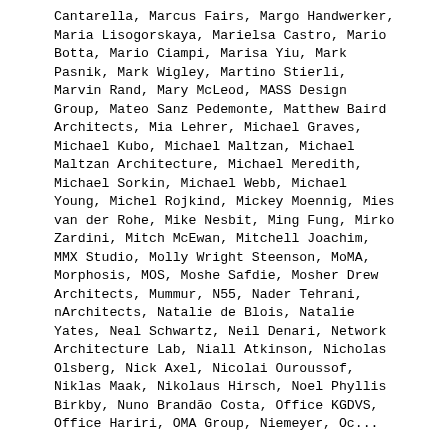Cantarella, Marcus Fairs, Margo Handwerker, Maria Lisogorskaya, Marielsa Castro, Mario Botta, Mario Ciampi, Marisa Yiu, Mark Pasnik, Mark Wigley, Martino Stierli, Marvin Rand, Mary McLeod, MASS Design Group, Mateo Sanz Pedemonte, Matthew Baird Architects, Mia Lehrer, Michael Graves, Michael Kubo, Michael Maltzan, Michael Maltzan Architecture, Michael Meredith, Michael Sorkin, Michael Webb, Michael Young, Michel Rojkind, Mickey Moennig, Mies van der Rohe, Mike Nesbit, Ming Fung, Mirko Zardini, Mitch McEwan, Mitchell Joachim, MMX Studio, Molly Wright Steenson, MoMA, Morphosis, MOS, Moshe Safdie, Mosher Drew Architects, Mummur, N55, Nader Tehrani, nArchitects, Natalie de Blois, Natalie Yates, Neal Schwartz, Neil Denari, Network Architecture Lab, Niall Atkinson, Nicholas Olsberg, Nick Axel, Nicolai Ouroussof, Niklas Maak, Nikolaus Hirsch, Noel Phyllis Birkby, Nuno Brandão Costa, Office KGDVS, Office Hariri, OMA Group, Niemeyer, Oc...